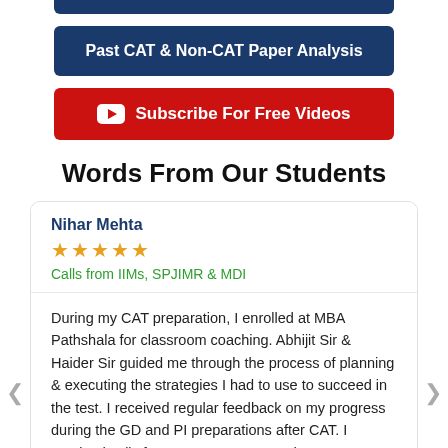[Figure (other): Partial dark blue button at top of page (cropped)]
Past CAT & Non-CAT Paper Analysis
Subscribe For Free Videos
Words From Our Students
Nihar Mehta
★★★★★
Calls from IIMs, SPJIMR & MDI
During my CAT preparation, I enrolled at MBA Pathshala for classroom coaching. Abhijit Sir & Haider Sir guided me through the process of planning & executing the strategies I had to use to succeed in the test. I received regular feedback on my progress during the GD and PI preparations after CAT. I received calls from IIMs, SPJIMR, and MDI. MBAP played a huge role in this, and I